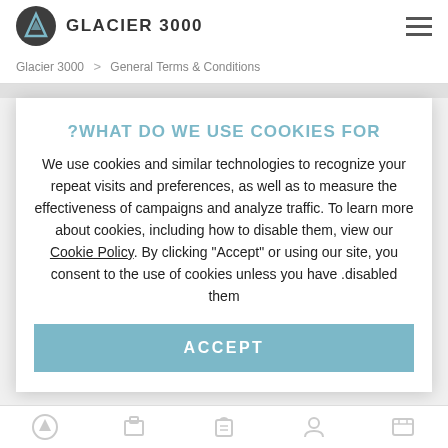[Figure (logo): Glacier 3000 logo: dark circle with mountain/triangle icon, text GLACIER 3000]
Glacier 3000 > General Terms & Conditions
?WHAT DO WE USE COOKIES FOR
We use cookies and similar technologies to recognize your repeat visits and preferences, as well as to measure the effectiveness of campaigns and analyze traffic. To learn more about cookies, including how to disable them, view our Cookie Policy. By clicking "Accept" or using our site, you consent to the use of cookies unless you have disabled them.
ACCEPT